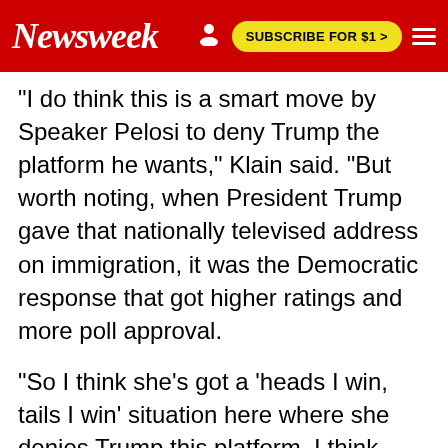Newsweek | SUBSCRIBE FOR $1 >
"I do think this is a smart move by Speaker Pelosi to deny Trump the platform he wants," Klain said. "But worth noting, when President Trump gave that nationally televised address on immigration, it was the Democratic response that got higher ratings and more poll approval.
"So I think she's got a 'heads I win, tails I win' situation here where she denies Trump this platform. I think whatever Trump does, her response will be just as effective, if not more